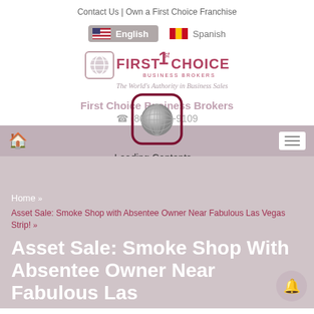Contact Us | Own a First Choice Franchise
[Figure (screenshot): Language selection bar with English (selected, US flag) and Spanish (Spain flag) options]
[Figure (logo): First Choice Business Brokers logo with tagline: The World's Authority in Business Sales]
First Choice Business Brokers
(800) 940-9109
[Figure (illustration): Globe icon with rounded square frame overlay and Loading Contents... text]
Loading Contents...
Home »
Asset Sale: Smoke Shop with Absentee Owner Near Fabulous Las Vegas Strip! »
Asset Sale: Smoke Shop With Absentee Owner Near Fabulous Las